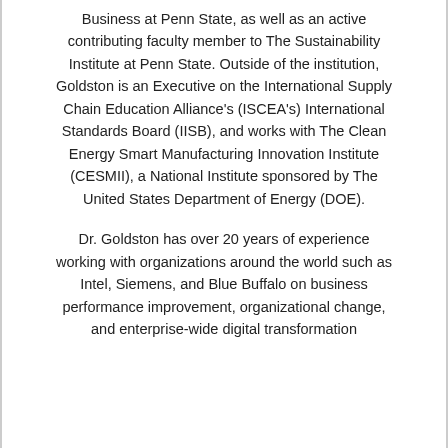Business at Penn State, as well as an active contributing faculty member to The Sustainability Institute at Penn State. Outside of the institution, Goldston is an Executive on the International Supply Chain Education Alliance's (ISCEA's) International Standards Board (IISB), and works with The Clean Energy Smart Manufacturing Innovation Institute (CESMII), a National Institute sponsored by The United States Department of Energy (DOE).
Dr. Goldston has over 20 years of experience working with organizations around the world such as Intel, Siemens, and Blue Buffalo on business performance improvement, organizational change, and enterprise-wide digital transformation